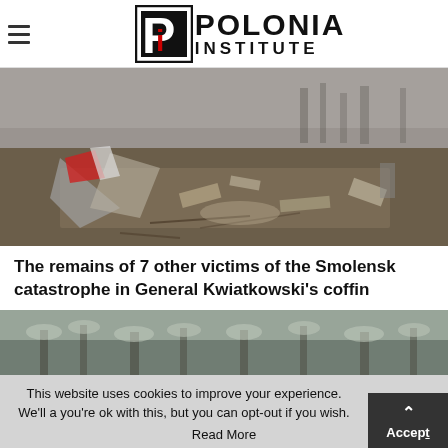POLONIA INSTITUTE
[Figure (photo): Aerial/ground view of the Smolensk plane crash debris field with wreckage, scattered parts, and foggy forest background]
The remains of 7 other victims of the Smolensk catastrophe in General Kwiatkowski's coffin
[Figure (photo): Second photo related to the Smolensk catastrophe showing snow-covered trees and forest]
This website uses cookies to improve your experience. We'll a you're ok with this, but you can opt-out if you wish.
Read More